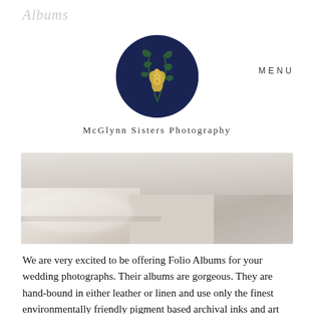Albums
MENU
[Figure (logo): McGlynn Sisters Photography circular logo with dark navy blue background and gold floral illustration]
McGlynn Sisters Photography
[Figure (photo): Blurred photograph of wedding photo albums, showing soft beige and grey tones with book spines visible]
We are very excited to be offering Folio Albums for your wedding photographs. Their albums are gorgeous. They are hand-bound in either leather or linen and use only the finest environmentally friendly pigment based archival inks and art papers. Albums start at £600 for a 30 page